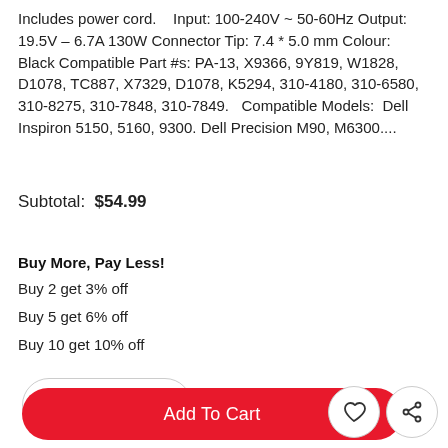Includes power cord.    Input: 100-240V ~ 50-60Hz Output: 19.5V – 6.7A 130W Connector Tip: 7.4 * 5.0 mm Colour: Black Compatible Part #s: PA-13, X9366, 9Y819, W1828, D1078, TC887, X7329, D1078, K5294, 310-4180, 310-6580, 310-8275, 310-7848, 310-7849.   Compatible Models:  Dell Inspiron 5150, 5160, 9300. Dell Precision M90, M6300....
Subtotal:  $54.99
Buy More, Pay Less!
Buy 2 get 3% off
Buy 5 get 6% off
Buy 10 get 10% off
[Figure (screenshot): Quantity selector showing '1' with up/down arrow stepper, in a rounded rectangle outline button]
[Figure (screenshot): Red 'Add To Cart' button, plus wishlist (heart) and share icons in circular outlines]